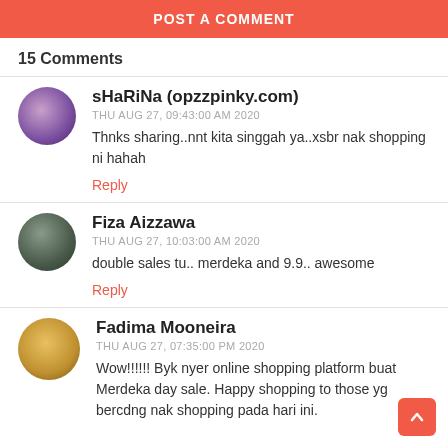POST A COMMENT
15 Comments
sHaRiNa (opzzpinky.com)
THU AUG 27, 09:43:00 AM 2020
Thnks sharing..nnt kita singgah ya..xsbr nak shopping ni hahah
Reply
Fiza Aizzawa
THU AUG 27, 10:03:00 AM 2020
double sales tu.. merdeka and 9.9.. awesome
Reply
Fadima Mooneira
THU AUG 27, 07:35:00 PM 2020
Wow!!!!!! Byk nyer online shopping platform buat Merdeka day sale. Happy shopping to those yg bercdng nak shopping pada hari ini.